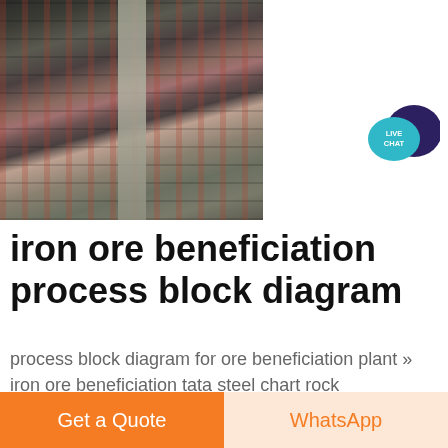[Figure (photo): Industrial iron ore beneficiation plant interior showing conveyor belts, machinery, large cylindrical mills, and structural columns in a factory setting]
[Figure (logo): Live Chat button — teal speech bubble with 'LIVE CHAT' text and dark navy chat bubble icon]
iron ore beneficiation process block diagram
process block diagram for ore beneficiation plant » iron ore beneficiation tata steel chart rock phosphate beneficiation plant flow diagram
Get a Quote
WhatsApp